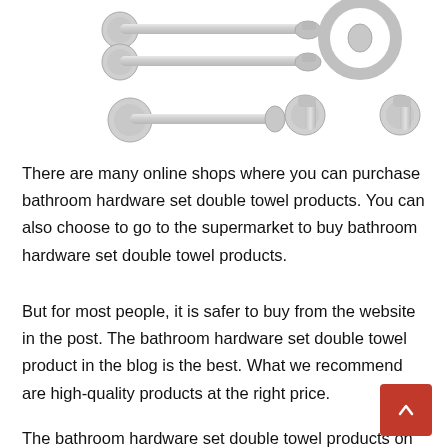[Figure (photo): Collection of stainless steel bathroom hardware accessories including towel bars, toilet paper holder, towel ring, and robe hooks in brushed nickel/chrome finish]
There are many online shops where you can purchase bathroom hardware set double towel products. You can also choose to go to the supermarket to buy bathroom hardware set double towel products.
But for most people, it is safer to buy from the website in the post. The bathroom hardware set double towel product in the blog is the best. What we recommend are high-quality products at the right price.
The bathroom hardware set double towel products on